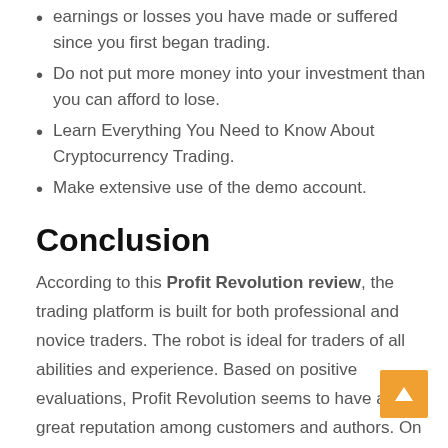earnings or losses you have made or suffered since you first began trading.
Do not put more money into your investment than you can afford to lose.
Learn Everything You Need to Know About Cryptocurrency Trading.
Make extensive use of the demo account.
Conclusion
According to this Profit Revolution review, the trading platform is built for both professional and novice traders. The robot is ideal for traders of all abilities and experience. Based on positive evaluations, Profit Revolution seems to have a great reputation among customers and authors. On all accounts, Profit Revolution appears to be a trustworthy and secure platform for exchanging cryptocurrency assets. It's